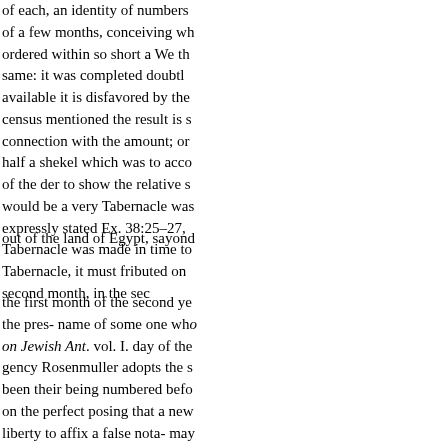of each, an identity of numbers of a few months, conceiving wh ordered within so short a We th same: it was completed doubtl available it is disfavored by th census mentioned the result is s connection with the amount; or half a shekel which was to acco of the der to show the relative s would be a very Tabernacle wa expressly stated Ex. 38:25–27, Tabernacle was made in time to Tabernacle, it must fributed on second month, in the sec
out of the land of Egypt, sayond
the first month of the second ye the pres- name of some one wh on Jewish Ant. vol. I. day of th gency Rosenmuller adopts the s been their being numbered befo on the perfect posing that a new liberty to affix a false nota- may